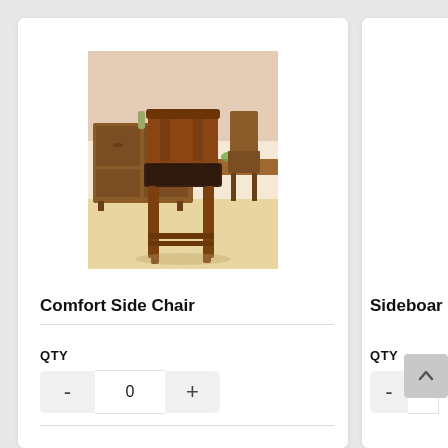[Figure (photo): Photo of a wooden dining side chair with dark upholstered seat, set in a dining room with a sideboard and table in the background.]
Comfort Side Chair
QTY
- 0 +
Sideboar
QTY
-